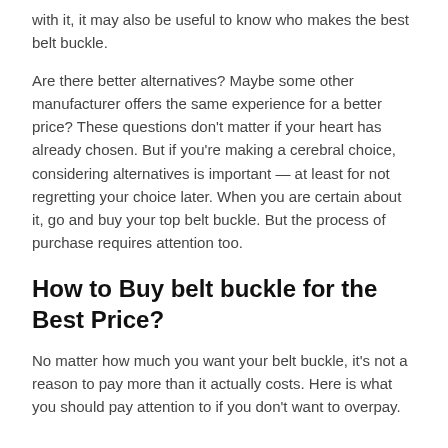with it, it may also be useful to know who makes the best belt buckle.
Are there better alternatives? Maybe some other manufacturer offers the same experience for a better price? These questions don't matter if your heart has already chosen. But if you're making a cerebral choice, considering alternatives is important — at least for not regretting your choice later. When you are certain about it, go and buy your top belt buckle. But the process of purchase requires attention too.
How to Buy belt buckle for the Best Price?
No matter how much you want your belt buckle, it's not a reason to pay more than it actually costs. Here is what you should pay attention to if you don't want to overpay.